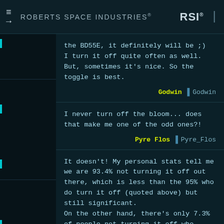ROBERTS SPACE INDUSTRIES®
the BD55E, it definitely will be ;)
I turn it off quite often as well. But, sometimes it's nice. So the toggle is best.
Godwin | Godwin
I never turn off the bloom... does that make me one of the odd ones?!
Pyre Flos | Pyre_Flos
It doesn't! My personal stats tell me we are 93.4% not turning it off out there, which is less than the 95% who do turn it off (quoted above) but still significant.
On the other hand, there's only 7.3% of people not turning it off who write on these boards, while 19.7% of the people turning it off do, which might lead to wrong conclusions.
Funny enough, the 'smoke in my b...